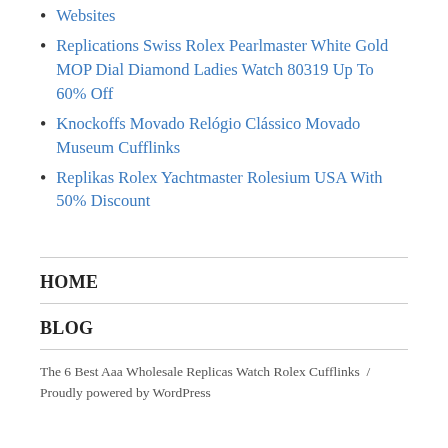Websites
Replications Swiss Rolex Pearlmaster White Gold MOP Dial Diamond Ladies Watch 80319 Up To 60% Off
Knockoffs Movado Relógio Clássico Movado Museum Cufflinks
Replikas Rolex Yachtmaster Rolesium USA With 50% Discount
HOME
BLOG
The 6 Best Aaa Wholesale Replicas Watch Rolex Cufflinks  /  Proudly powered by WordPress